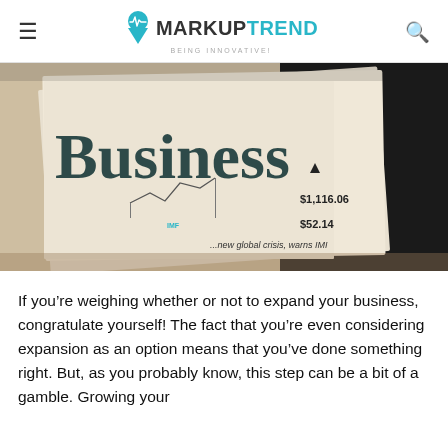MARKUPTREND — Being Innovative!
[Figure (photo): A person in a dark suit holding a business newspaper open, with headlines including 'Business' visible on the front page, and financial data/charts printed on it. The person is wearing a watch.]
If you're weighing whether or not to expand your business, congratulate yourself! The fact that you're even considering expansion as an option means that you've done something right. But, as you probably know, this step can be a bit of a gamble. Growing your